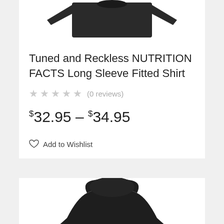[Figure (photo): Black long sleeve fitted shirt partially visible at top of page]
Tuned and Reckless NUTRITION FACTS Long Sleeve Fitted Shirt
★★★★★ (0 reviews)
$32.95 – $34.95
Add to Wishlist
[Figure (photo): Black hoodie with Nutrition Facts label design, partially visible at bottom of page]